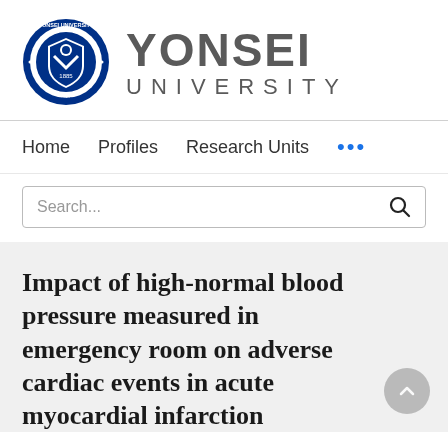[Figure (logo): Yonsei University logo with circular seal on the left and 'YONSEI UNIVERSITY' text on the right in gray]
Home    Profiles    Research Units    ...
Search...
Impact of high-normal blood pressure measured in emergency room on adverse cardiac events in acute myocardial infarction